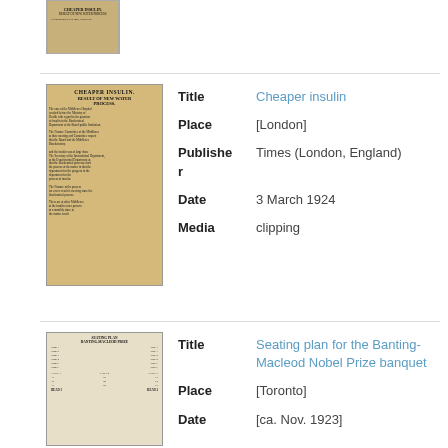[Figure (photo): Small thumbnail of a newspaper clipping, sepia-toned]
| Field | Value |
| --- | --- |
| Title | Cheaper insulin |
| Place | [London] |
| Publisher | Times (London, England) |
| Date | 3 March 1924 |
| Media | clipping |
[Figure (photo): Newspaper clipping with headline 'CHEAPER INSULIN. RESULT OF NEW WATER PROCESS.']
| Field | Value |
| --- | --- |
| Title | Seating plan for the Banting-Macleod Nobel Prize banquet |
| Place | [Toronto] |
| Date | [ca. Nov. 1923] |
[Figure (photo): Seating plan document, small thumbnail]